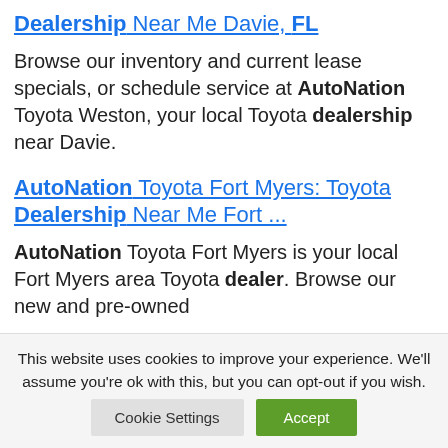Dealership Near Me Davie, FL
Browse our inventory and current lease specials, or schedule service at AutoNation Toyota Weston, your local Toyota dealership near Davie.
AutoNation Toyota Fort Myers: Toyota Dealership Near Me Fort ...
AutoNation Toyota Fort Myers is your local Fort Myers area Toyota dealer. Browse our new and pre-owned
This website uses cookies to improve your experience. We'll assume you're ok with this, but you can opt-out if you wish.